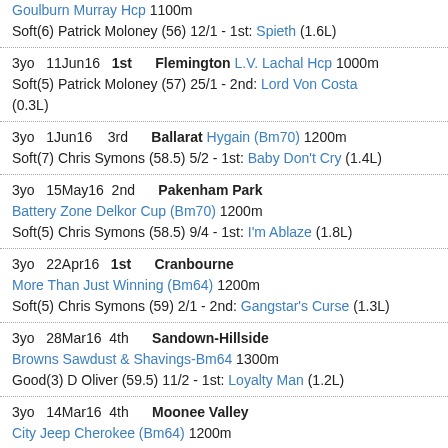Goulburn Murray Hcp 1100m Soft(6) Patrick Moloney (56) 12/1 - 1st: Spieth (1.6L)
3yo 11Jun16 1st Flemington L.V. Lachal Hcp 1000m Soft(5) Patrick Moloney (57) 25/1 - 2nd: Lord Von Costa (0.3L)
3yo 1Jun16 3rd Ballarat Hygain (Bm70) 1200m Soft(7) Chris Symons (58.5) 5/2 - 1st: Baby Don't Cry (1.4L)
3yo 15May16 2nd Pakenham Park Battery Zone Delkor Cup (Bm70) 1200m Soft(5) Chris Symons (58.5) 9/4 - 1st: I'm Ablaze (1.8L)
3yo 22Apr16 1st Cranbourne More Than Just Winning (Bm64) 1200m Soft(5) Chris Symons (59) 2/1 - 2nd: Gangstar's Curse (1.3L)
3yo 28Mar16 4th Sandown-Hillside Browns Sawdust & Shavings-Bm64 1300m Good(3) D Oliver (59.5) 11/2 - 1st: Loyalty Man (1.2L)
3yo 14Mar16 4th Moonee Valley City Jeep Cherokee (Bm64) 1200m